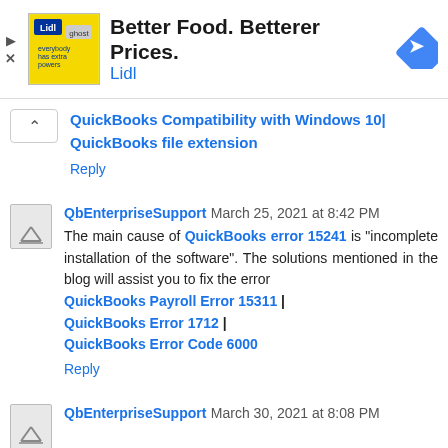[Figure (infographic): Advertisement banner for Lidl with yellow logo image, headline 'Better Food. Betterer Prices.' and brand name 'Lidl' in blue, with a blue navigation arrow icon on the right. Play and close controls on left.]
QuickBooks Compatibility with Windows 10| QuickBooks file extension
Reply
QbEnterpriseSupport March 25, 2021 at 8:42 PM
The main cause of QuickBooks error 15241 is "incomplete installation of the software". The solutions mentioned in the blog will assist you to fix the error
QuickBooks Payroll Error 15311 |
QuickBooks Error 1712 |
QuickBooks Error Code 6000
Reply
QbEnterpriseSupport March 30, 2021 at 8:08 PM